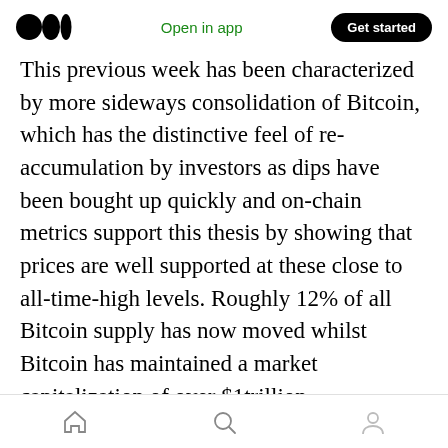Medium logo | Open in app | Get started
This previous week has been characterized by more sideways consolidation of Bitcoin, which has the distinctive feel of re-accumulation by investors as dips have been bought up quickly and on-chain metrics support this thesis by showing that prices are well supported at these close to all-time-high levels. Roughly 12% of all Bitcoin supply has now moved whilst Bitcoin has maintained a market capitalization of over $1trillion, representing a movement between buyers and sellers of BTC around the ~$54k price mark (source: Glassnode + @woonomic). It is also noteworthy that BTC has held above the
Home | Search | Profile